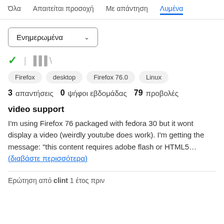Όλα   Απαιτείται προσοχή   Με απάντηση   Λυμένα
Ενημερωμένα
[Figure (other): Checkmark icon and stacked lines icon (filter/view icons)]
Firefox
desktop
Firefox 76.0
Linux
3 απαντήσεις   0 ψήφοι εβδομάδας   79 προβολές
video support
I'm using Firefox 76 packaged with fedora 30 but it wont display a video (weirdly youtube does work). I'm getting the message: "this content requires adobe flash or HTML5… (διαβάστε περισσότερα)
Ερώτηση από clint 1 έτος πριν